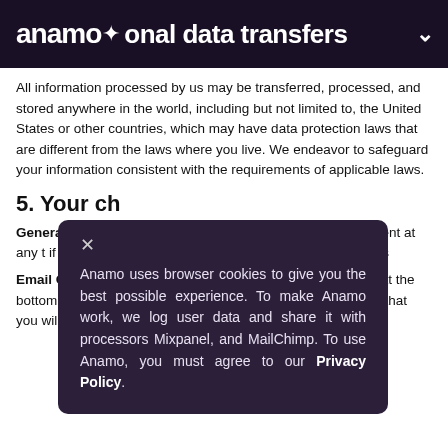anamo — onal data transfers
All information processed by us may be transferred, processed, and stored anywhere in the world, including but not limited to, the United States or other countries, which may have data protection laws that are different from the laws where you live. We endeavor to safeguard your information consistent with the requirements of applicable laws.
5. Your ch…
General: You ma… uses of your per… the processing o… consent at any t… you opt out, we m… regarding your a… purposes as des…
[Figure (screenshot): Cookie consent popup overlay with dark purple background. Shows close button (×), then text: 'Anamo uses browser cookies to give you the best possible experience. To make Anamo work, we log user data and share it with processors Mixpanel, and MailChimp. To use Anamo, you must agree to our Privacy Policy.']
Email Communi… us, you can use the unsubscribe link found at the bottom of the email to opt out of receiving future emails. Note that you will continue to